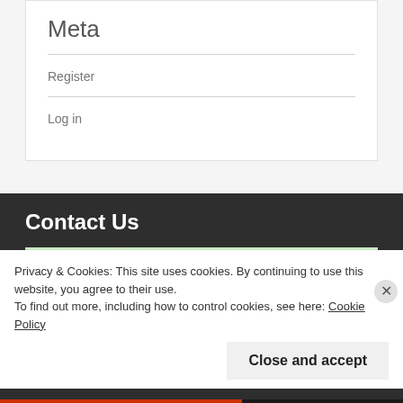Meta
Register
Log in
Contact Us
[Figure (map): Map showing Riverview, Streetsville, Mississauga area with highway 407]
Privacy & Cookies: This site uses cookies. By continuing to use this website, you agree to their use.
To find out more, including how to control cookies, see here: Cookie Policy
Close and accept